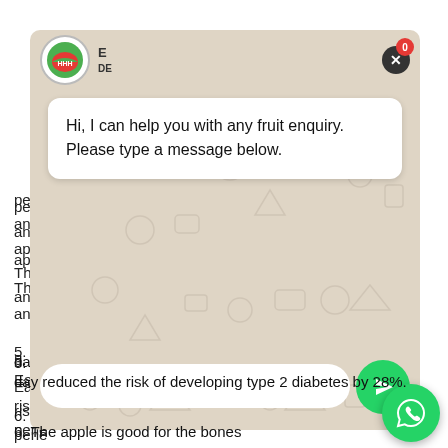[Figure (screenshot): WhatsApp chatbot overlay on a web page about apple health benefits. The overlay shows a chat bubble saying 'Hi, I can help you with any fruit enquiry. Please type a message below.' with an input field and send button. Behind the overlay, partially visible text includes list items about apple health benefits, including a point about apples reducing risk of type 2 diabetes by 28% and a point about apples being good for the bones.]
people
an e
apple
The f
and m
5. Ap
Eatin
risk
pene
stabi
resul
day reduced the risk of developing type 2 diabetes by 28%.
6. The apple is good for the bones